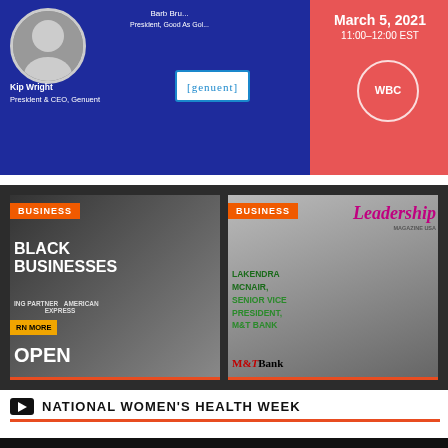[Figure (infographic): Event banner with blue left section showing Kip Wright (President & CEO, Genuent) headshot and Genuent logo, and coral/red right section showing March 5, 2021, 11:00-12:00 EST with WBC badge. Also shows Barb Bru... President, Good As Gol...]
[Figure (infographic): Dark background panel with two business article thumbnails. Left thumbnail: 'BUSINESS' orange tag, 'BLACK BUSINESSES', American Express partnership, 'LEARN MORE' button, OPEN sign. Right thumbnail: 'BUSINESS' orange tag, 'Leadership Magazine USA' in pink italic, Lakendra McNair Senior Vice President M&T Bank portrait.]
NATIONAL WOMEN'S HEALTH WEEK
[Figure (screenshot): YouTube video thumbnail showing 'Recipe for Health' with cooking ingredients visible including a green apple and knife on cutting board, with text '1/2, diced' overlay and YouTube play button circle logo.]